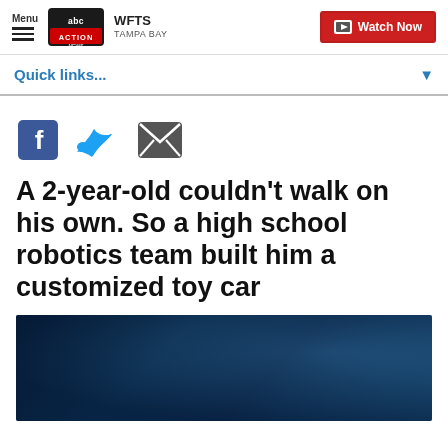Menu | abc ACTION NEWS WFTS TAMPA BAY | Watch Now
Quick links...
[Figure (other): Social sharing icons: Facebook, Twitter, Email]
A 2-year-old couldn't walk on his own. So a high school robotics team built him a customized toy car
[Figure (photo): Dark blue-tinted photo, partially visible, appears to show a workshop or robotics environment]